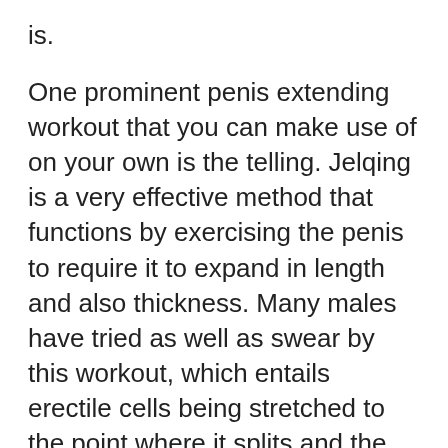is.
One prominent penis extending workout that you can make use of on your own is the telling. Jelqing is a very effective method that functions by exercising the penis to require it to expand in length and also thickness. Many males have tried as well as swear by this workout, which entails erectile cells being stretched to the point where it splits and the resulting cells buildup is used to assist tone the organ. If you want to experience better results in the room, make sure to stick to this simple penis enhancement workout regimen.
A penis extension is a technique of adding size to your penis that involves making use